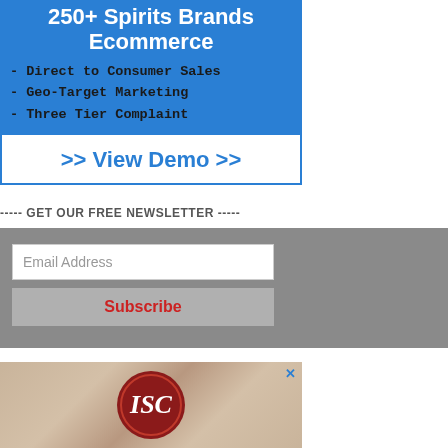[Figure (infographic): Blue advertisement box for spirits brands ecommerce with headline '250+ Spirits Brands Ecommerce', bullet points for Direct to Consumer Sales, Geo-Target Marketing, Three Tier Complaint, and a View Demo button]
----- GET OUR FREE NEWSLETTER -----
[Figure (infographic): Newsletter signup section with gray background, email address input field and Subscribe button]
[Figure (logo): ISC logo on decorative background with close X button]